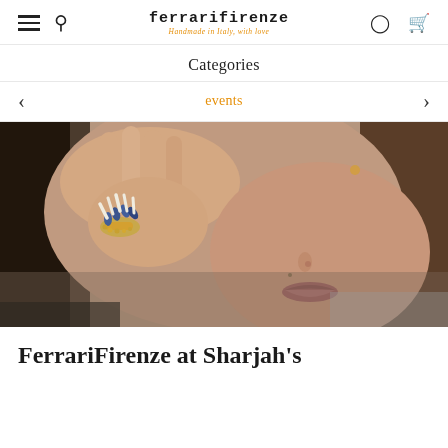ferrarifirenze — Handmade in Italy, with love
Categories
< events >
[Figure (photo): Close-up photo of a woman holding her hand up near her face, wearing an ornate gold ring with blue sapphires and white enamel on her ring finger, partial view of her lips and nose]
FerrariFirenze at Sharjah's